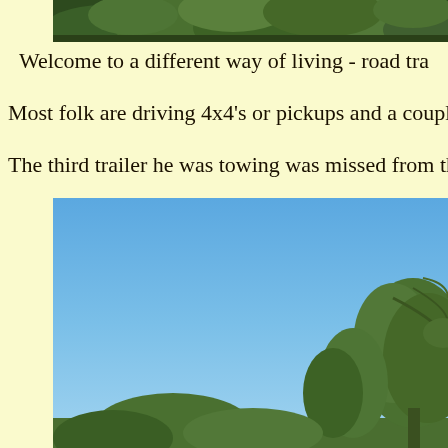[Figure (photo): Top portion of a photo showing dense green tree foliage and vegetation, cropped at the top of the page]
Welcome to a different way of living - road tra
Most folk are driving 4x4's or pickups and a couple
The third trailer he was towing was missed from the ph
[Figure (photo): Outdoor photo showing a clear blue sky with green trees (eucalyptus/gums) visible at lower right, taken in what appears to be an Australian rural setting]